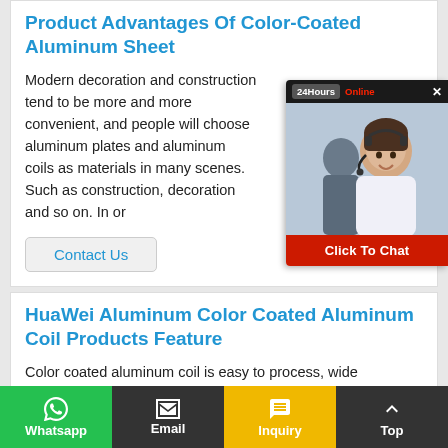Product Advantages Of Color-Coated Aluminum Sheet
Modern decoration and construction tend to be more and more convenient, and people will choose aluminum plates and aluminum coils as materials in many scenes. Such as construction, decoration and so on. In or
Contact Us
[Figure (photo): Live chat widget showing a customer service representative with headset. Header shows '24Hours Online' with a close button. Bottom has a red 'Click To Chat' button.]
HuaWei Aluminum Color Coated Aluminum Coil Products Feature
Color coated aluminum coil is easy to process, wide application, in the construction, electrical appliances, furniture, solar panels and other aspects of a wide range of applications. Color
Whatsapp  Email  Inquiry  Top